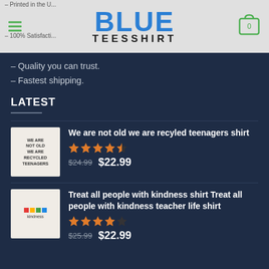[Figure (screenshot): Blue Teesshirt website header with logo, hamburger menu, and cart icon showing 0 items]
– Printed in the U...
– 100% Satisfacti...
– Quality you can trust.
– Fastest shipping.
LATEST
We are not old we are recyled teenagers shirt
Rated 4.5 out of 5 stars
$24.99  $22.99
Treat all people with kindness shirt Treat all people with kindness teacher life shirt
Rated 4 out of 5 stars
$25.99  $22.99